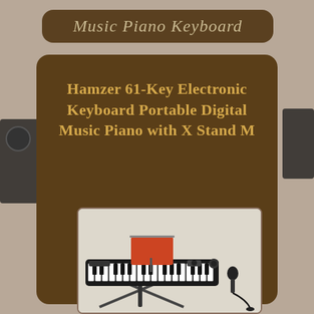Music Piano Keyboard
Hamzer 61-Key Electronic Keyboard Portable Digital Music Piano with X Stand M
[Figure (photo): Photo of a Hamzer 61-key electronic keyboard on an X stand, with a music sheet holder, microphone with cable, shown against a light background]